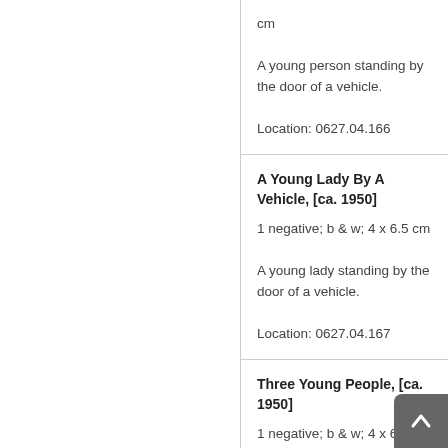cm

A young person standing by the door of a vehicle.

Location: 0627.04.166
A Young Lady By A Vehicle, [ca. 1950]

1 negative; b & w; 4 x 6.5 cm

A young lady standing by the door of a vehicle.

Location: 0627.04.167
Three Young People, [ca. 1950]

1 negative; b & w; 4 x 6.5